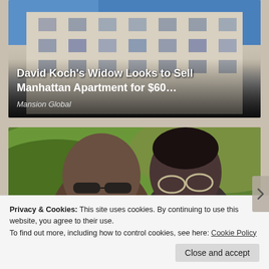[Figure (photo): Photo of a white Art Deco Manhattan apartment building facade against a blue sky, with overlaid headline text about David Koch's widow selling a Manhattan apartment.]
David Koch's Widow Looks to Sell Manhattan Apartment for $60…
Mansion Global
[Figure (photo): Photo of two people wearing sunglasses outdoors with green hillside vegetation in the background — appears to be Barack Obama and Michelle Obama.]
Privacy & Cookies: This site uses cookies. By continuing to use this website, you agree to their use.
To find out more, including how to control cookies, see here: Cookie Policy
Close and accept